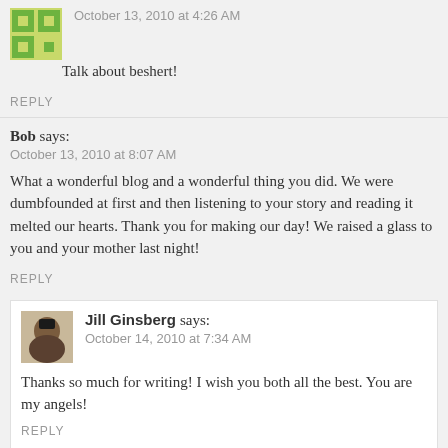October 13, 2010 at 4:26 AM
Talk about beshert!
REPLY
Bob says:
October 13, 2010 at 8:07 AM
What a wonderful blog and a wonderful thing you did. We were dumbfounded at first and then listening to your story and reading it melted our hearts. Thank you for making our day! We raised a glass to you and your mother last night!
REPLY
Jill Ginsberg says:
October 14, 2010 at 7:34 AM
Thanks so much for writing! I wish you both all the best. You are my angels!
REPLY